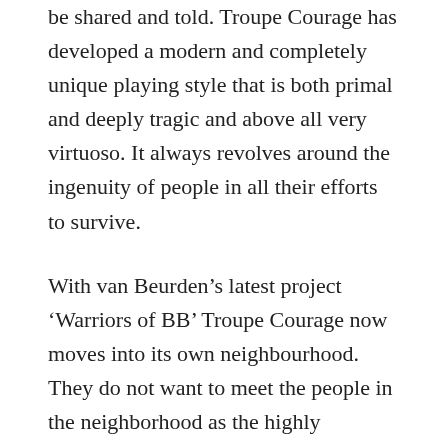be shared and told. Troupe Courage has developed a modern and completely unique playing style that is both primal and deeply tragic and above all very virtuoso. It always revolves around the ingenuity of people in all their efforts to survive.
With van Beurden's latest project 'Warriors of BB' Troupe Courage now moves into its own neighbourhood. They do not want to meet the people in the neighborhood as the highly educated two-parent families, or the square's business proprietors, but they want to meet the people behind them and perhaps invisible to them: what is their struggle? What are they fighting for or against? How do they survive? And above all, in what unique and brilliant ways do they deal with their struggle? Troupe Courage searches for the neighbourhood archetypes: Who is the shrewd